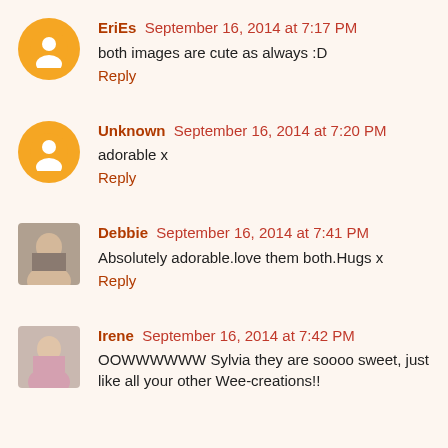EriEs September 16, 2014 at 7:17 PM
both images are cute as always :D
Reply
Unknown September 16, 2014 at 7:20 PM
adorable x
Reply
Debbie September 16, 2014 at 7:41 PM
Absolutely adorable.love them both.Hugs x
Reply
Irene September 16, 2014 at 7:42 PM
OOWWWWWW Sylvia they are soooo sweet, just like all your other Wee-creations!!